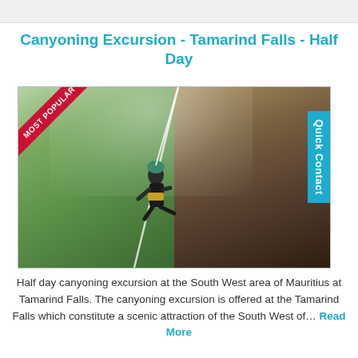Canyoning Excursion - Tamarind Falls - Half Day
[Figure (photo): Person abseiling/rappelling down a waterfall cliff face at Tamarind Falls, Mauritius. A diagonal rope is visible. Green lush vegetation on left, rocky cliff on right. 'MOST POPULAR' red ribbon in top-left corner. 'Quick Contact' teal tab on right side.]
Half day canyoning excursion at the South West area of Mauritius at Tamarind Falls. The canyoning excursion is offered at the Tamarind Falls which constitute a scenic attraction of the South West of… Read More